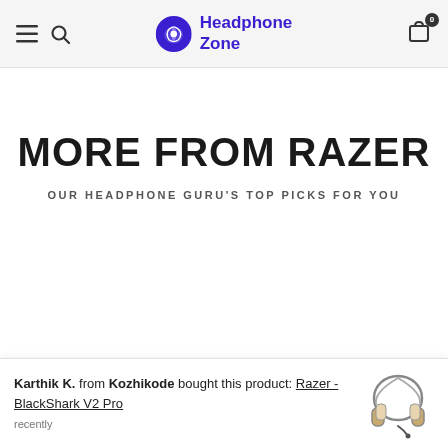Headphone Zone
MORE FROM RAZER
OUR HEADPHONE GURU'S TOP PICKS FOR YOU
Karthik K. from Kozhikode bought this product: Razer - BlackShark V2 Pro recently